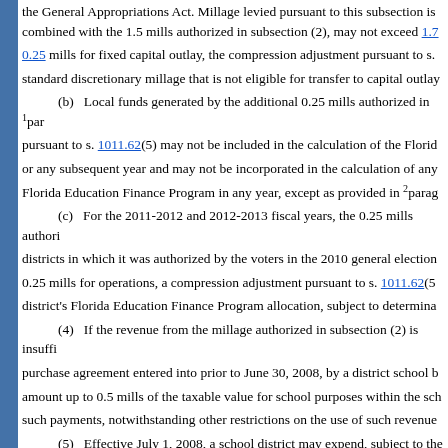the General Appropriations Act. Millage levied pursuant to this subsection is combined with the 1.5 mills authorized in subsection (2), may not exceed 1.7[...] 0.25 mills for fixed capital outlay, the compression adjustment pursuant to s. [...] standard discretionary millage that is not eligible for transfer to capital outlay[...]
(b) Local funds generated by the additional 0.25 mills authorized in 1paragraph pursuant to s. 1011.62(5) may not be included in the calculation of the Florida [...] or any subsequent year and may not be incorporated in the calculation of any [...] Florida Education Finance Program in any year, except as provided in 2paragraph[...]
(c) For the 2011-2012 and 2012-2013 fiscal years, the 0.25 mills authorized [...] districts in which it was authorized by the voters in the 2010 general election [...] 0.25 mills for operations, a compression adjustment pursuant to s. 1011.62(5[...]) district's Florida Education Finance Program allocation, subject to determination[...]
(4) If the revenue from the millage authorized in subsection (2) is insufficient [...] purchase agreement entered into prior to June 30, 2008, by a district school b[...] amount up to 0.5 mills of the taxable value for school purposes within the scho[...] such payments, notwithstanding other restrictions on the use of such revenue[...]
(5) Effective July 1, 2008, a school district may expend, subject to the p[...] unweighted full-time equivalent student from the revenue generated by the m[...] fund, in addition to expenditures authorized in paragraphs (2)(a)-(j), expenses[...]
(a) The purchase, lease-purchase, or lease of driver's education vehicles [...] or operation of plants and equipment; security vehicles; or vehicles used in s[...] equipment.